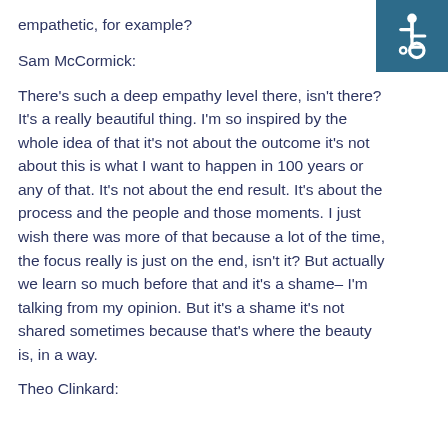empathetic, for example?
Sam McCormick:
There's such a deep empathy level there, isn't there? It's a really beautiful thing. I'm so inspired by the whole idea of that it's not about the outcome it's not about this is what I want to happen in 100 years or any of that. It's not about the end result. It's about the process and the people and those moments. I just wish there was more of that because a lot of the time, the focus really is just on the end, isn't it? But actually we learn so much before that and it's a shame– I'm talking from my opinion. But it's a shame it's not shared sometimes because that's where the beauty is, in a way.
Theo Clinkard:
[Figure (illustration): Accessibility wheelchair icon — white wheelchair symbol on teal/dark blue square background, top right corner]